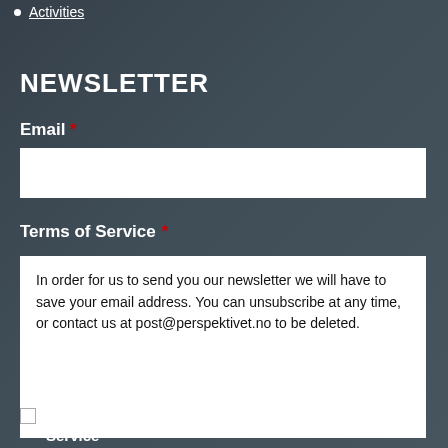Activities
NEWSLETTER
Email *
Terms of Service *
In order for us to send you our newsletter we will have to save your email address. You can unsubscribe at any time, or contact us at post@perspektivet.no to be deleted.
I agree to the Terms of Service